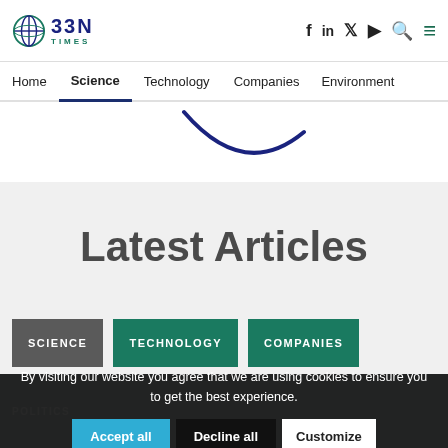BBN TIMES — navigation header with logo and social icons
Home | Science | Technology | Companies | Environment
[Figure (illustration): Partial curved dark line/arc shape on white background, remnant of a previous section]
Latest Articles
SCIENCE
TECHNOLOGY
COMPANIES
By visiting our website you agree that we are using cookies to ensure you to get the best experience.
Accept all
Decline all
Customize